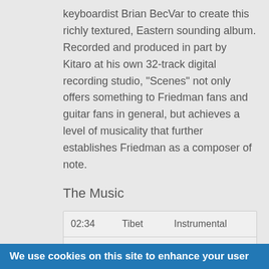keyboardist Brian BecVar to create this richly textured, Eastern sounding album. Recorded and produced in part by Kitaro at his own 32-track digital recording studio, "Scenes" not only offers something to Friedman fans and guitar fans in general, but achieves a level of musicality that further establishes Friedman as a composer of note.
The Music
| 02:34 | Tibet | Instrumental |
| 03:39 | Angel | Instrumental |
We use cookies on this site to enhance your user